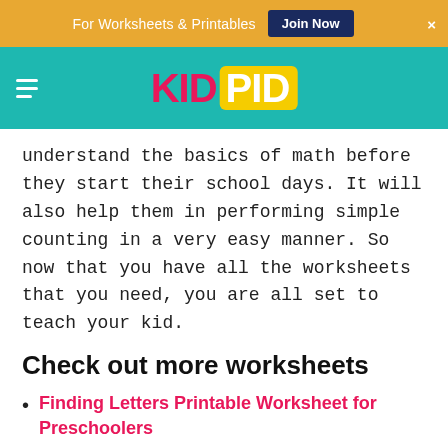For Worksheets & Printables  Join Now  ×
[Figure (logo): KidPid logo with hamburger menu on teal navigation bar]
understand the basics of math before they start their school days. It will also help them in performing simple counting in a very easy manner. So now that you have all the worksheets that you need, you are all set to teach your kid.
Check out more worksheets
Finding Letters Printable Worksheet for Preschoolers
Opposite Numbers Math Activity